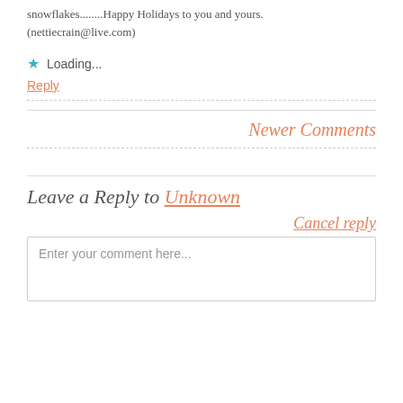snowflakes........Happy Holidays to you and yours. (nettiecrain@live.com)
Loading...
Reply
Newer Comments
Leave a Reply to Unknown
Cancel reply
Enter your comment here...